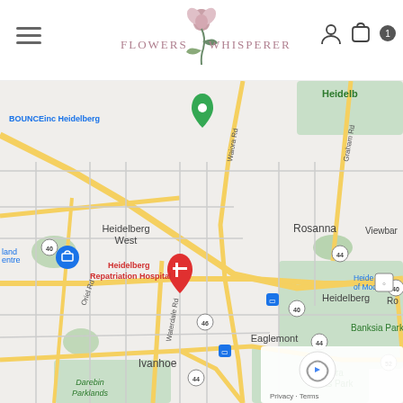Flowers Whisperer — navigation header with logo, hamburger menu, and cart icon
[Figure (map): Google Maps screenshot showing Heidelberg West, Rosanna, Eaglemont, Ivanhoe, and surrounding suburbs in Melbourne, Australia. Features include BOUNCEinc Heidelberg label, Heidelberg Repatriation Hospital marker, Heide Museum of Modern Art, Banksia Park, Yarra Flats Park, Darebin Parklands, and various road labels including Oriel Rd, Waiora Rd, Graham Rd, Waterdale Rd. Road numbers shown: 40, 44, 46, 52.]